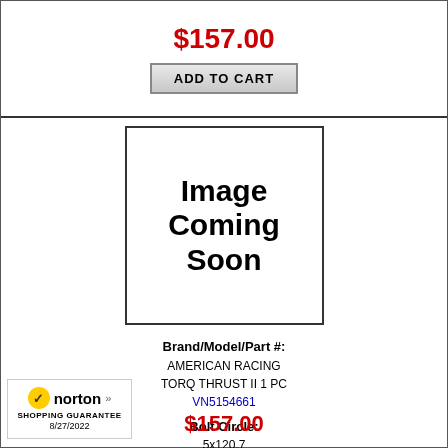$157.00
ADD TO CART
[Figure (illustration): Image Coming Soon placeholder box]
Brand/Model/Part #:
AMERICAN RACING
TORQ THRUST II 1 PC
VN5154661
Bolt Circle:
5x120.7
Size:
14x6
Offset:
-2
Finish:
POLISHED
[Figure (logo): Norton Shopping Guarantee badge dated 8/27/2022]
$157.00